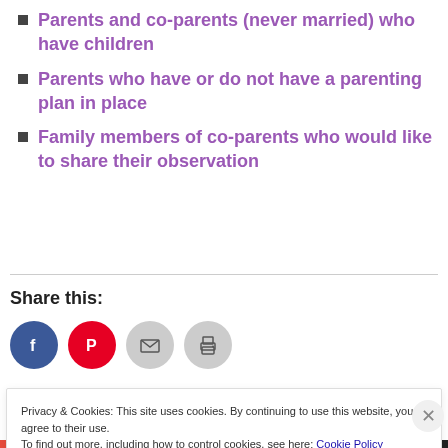Parents and co-parents (never married) who have children
Parents who have or do not have a parenting plan in place
Family members of co-parents who would like to share their observation
Share this:
[Figure (infographic): Social share icons: Facebook (blue circle), Pinterest (red circle), Email (grey circle), Print (grey circle)]
Privacy & Cookies: This site uses cookies. By continuing to use this website, you agree to their use.
To find out more, including how to control cookies, see here: Cookie Policy